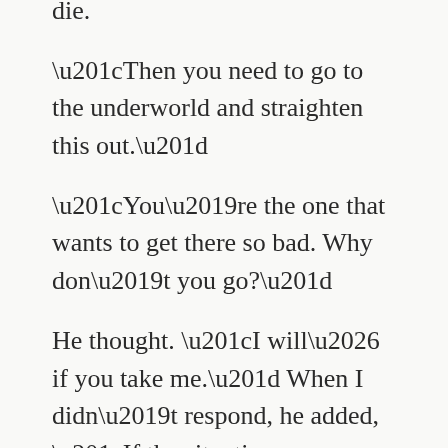die.
“Then you need to go to the underworld and straighten this out.”
“You’re the one that wants to get there so bad. Why don’t you go?”
He thought. “I will… if you take me.” When I didn’t respond, he added, “If the situation was reversed, I’d do it for you.”
“You’ve never done ANYTHING for me!”
He shrugged. “The situation was